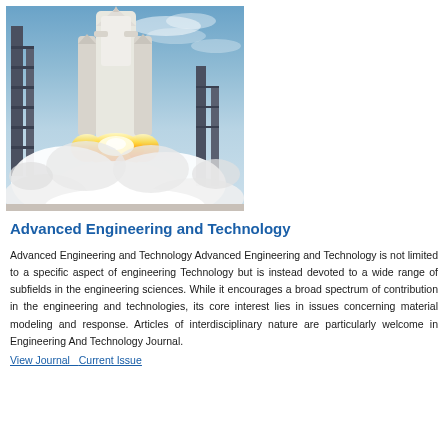[Figure (photo): Space shuttle or rocket launching from launch pad with large plumes of smoke and fire, photographed from ground level against a blue sky]
Advanced Engineering and Technology
Advanced Engineering and Technology Advanced Engineering and Technology is not limited to a specific aspect of engineering Technology but is instead devoted to a wide range of subfields in the engineering sciences. While it encourages a broad spectrum of contribution in the engineering and technologies, its core interest lies in issues concerning material modeling and response. Articles of interdisciplinary nature are particularly welcome in Engineering And Technology Journal.
View Journal   Current Issue